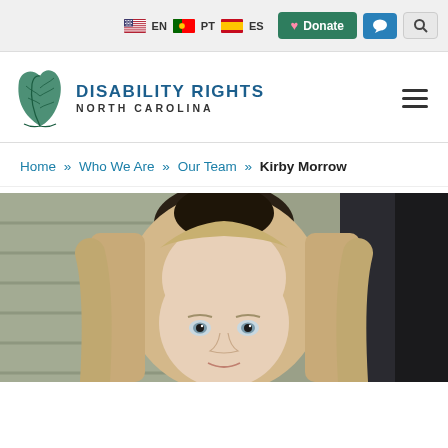EN  PT  ES  Donate  [chat]  [search]
[Figure (logo): Disability Rights North Carolina logo with palm leaf graphic]
Home » Who We Are » Our Team » Kirby Morrow
[Figure (photo): Close-up photo of a woman with blonde hair and blue-gray eyes, looking at the camera]